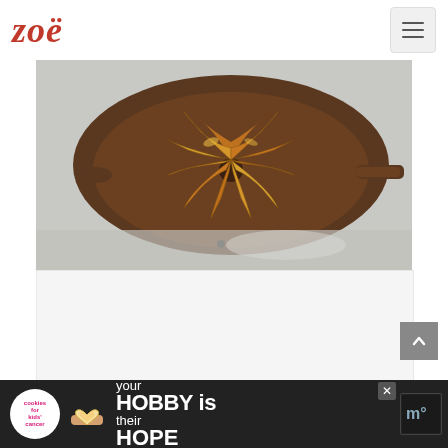Zoë
[Figure (photo): A cast iron or copper skillet pan with caramelized pear or apple slices arranged in a fan/flower pattern, glazed with a sauce, shot on a light marble surface.]
[Figure (photo): Blank white/light gray content area below the food photo, likely an embedded media or loading area.]
[Figure (infographic): Advertisement banner at bottom: 'your HOBBY is their HOPE' with cookies for kids cancer logo and a heart-shaped cookie image.]